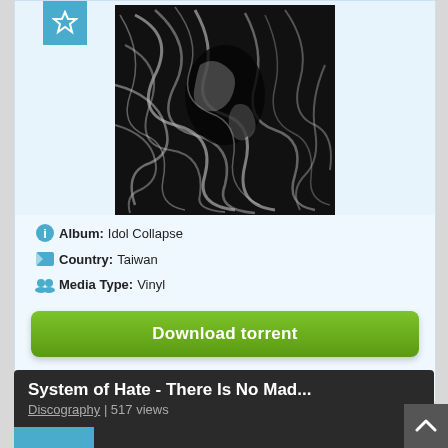[Figure (photo): Album art for Idol Collapse — black and white swirling abstract/organic artwork]
Album: Idol Collapse
Country: Taiwan
Media Type: Vinyl
Download torrent
Industrial Post-Punk
System of Hate - There Is No Mad...
Discography | 517 views